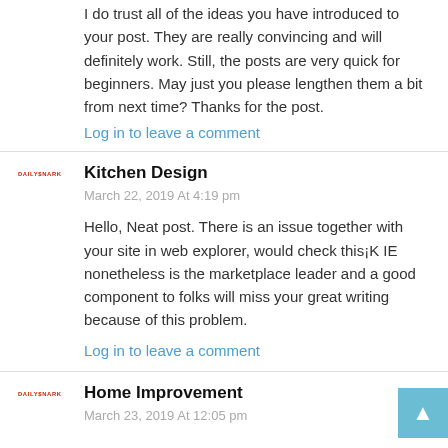I do trust all of the ideas you have introduced to your post. They are really convincing and will definitely work. Still, the posts are very quick for beginners. May just you please lengthen them a bit from next time? Thanks for the post.
Log in to leave a comment
Kitchen Design
March 22, 2019 At 4:19 pm
Hello, Neat post. There is an issue together with your site in web explorer, would check this¡K IE nonetheless is the marketplace leader and a good component to folks will miss your great writing because of this problem.
Log in to leave a comment
Home Improvement
March 23, 2019 At 12:05 pm